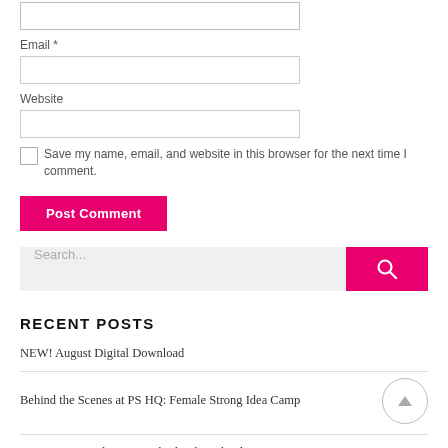Email *
Website
Save my name, email, and website in this browser for the next time I comment.
Post Comment
Search...
RECENT POSTS
NEW! August Digital Download
Behind the Scenes at PS HQ: Female Strong Idea Camp
Summer Party Planning with Floral Cocktails